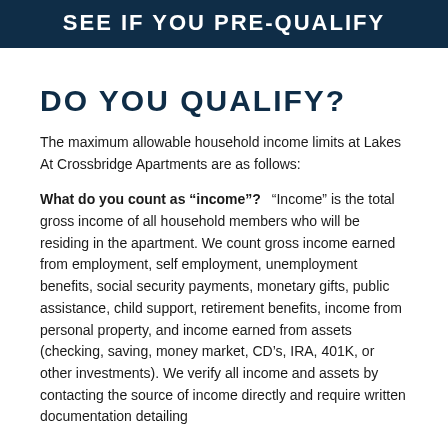SEE IF YOU PRE-QUALIFY
DO YOU QUALIFY?
The maximum allowable household income limits at Lakes At Crossbridge Apartments are as follows:
What do you count as “income”?  “Income” is the total gross income of all household members who will be residing in the apartment. We count gross income earned from employment, self employment, unemployment benefits, social security payments, monetary gifts, public assistance, child support, retirement benefits, income from personal property, and income earned from assets (checking, saving, money market, CD’s, IRA, 401K, or other investments). We verify all income and assets by contacting the source of income directly and require written documentation detailing